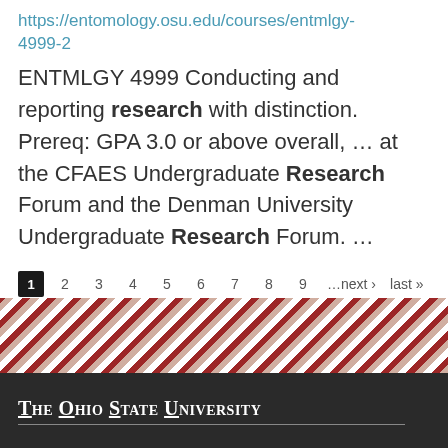https://entomology.osu.edu/courses/entmlgy-4999-2
ENTMLGY 4999 Conducting and reporting research with distinction. Prereq: GPA 3.0 or above overall, ... at the CFAES Undergraduate Research Forum and the Denman University Undergraduate Research Forum. ...
Pagination: 1 2 3 4 5 6 7 8 9 …next › last »
[Figure (other): Diagonal red and white stripe decorative band]
The Ohio State University